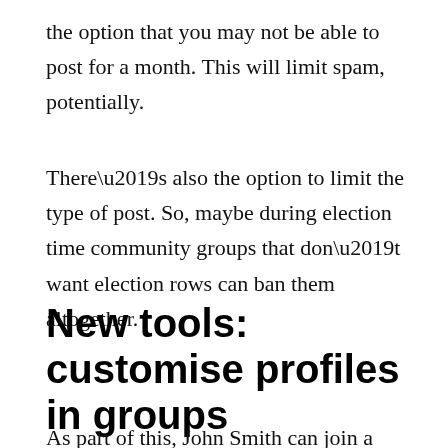the option that you may not be able to post for a month. This will limit spam, potentially.
There’s also the option to limit the type of post. So, maybe during election time community groups that don’t want election rows can ban them altogether.
New tools: customise profiles in groups
As part of this, John Smith can join a